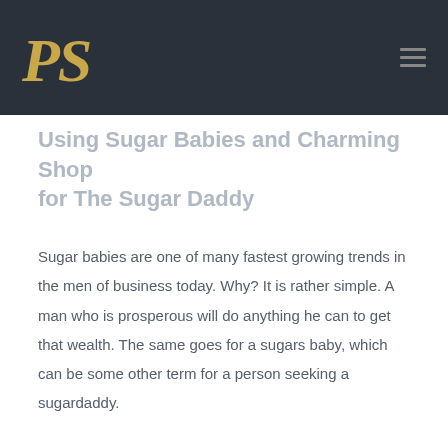[Figure (logo): PS logo in gold italic script on dark navy header background]
Using Sugar Babies and Charming Shop for The Sugar Daddy
Sugar babies are one of many fastest growing trends in the men of business today. Why? It is rather simple. A man who is prosperous will do anything he can to get that wealth. The same goes for a sugars baby, which can be some other term for a person seeking a sugardaddy.
Sugars dating, at times called sugaring or baby dating, is